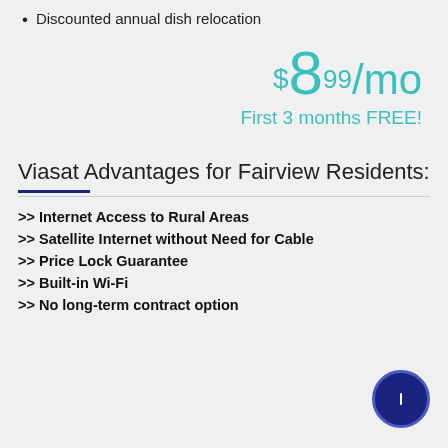Discounted annual dish relocation
$8.99/mo
First 3 months FREE!
Viasat Advantages for Fairview Residents:
>> Internet Access to Rural Areas
>> Satellite Internet without Need for Cable
>> Price Lock Guarantee
>> Built-in Wi-Fi
>> No long-term contract option